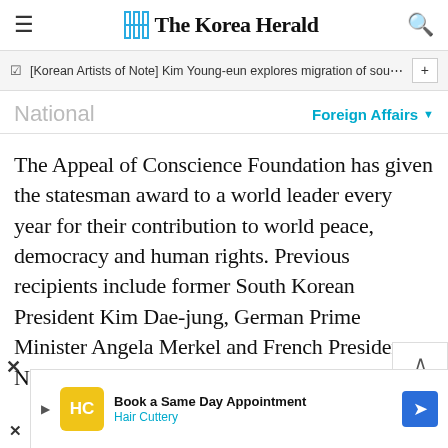The Korea Herald
[Korean Artists of Note] Kim Young-eun explores migration of sou…
National
Foreign Affairs
The Appeal of Conscience Foundation has given the statesman award to a world leader every year for their contribution to world peace, democracy and human rights. Previous recipients include former South Korean President Kim Dae-jung, German Prime Minister Angela Merkel and French President Nicolas Sarkozy.
Book a Same Day Appointment  Hair Cuttery